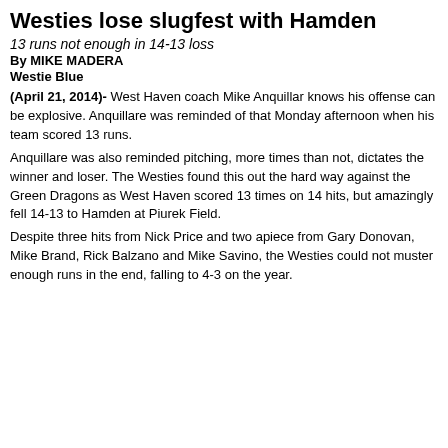Westies lose slugfest with Hamden
13 runs not enough in 14-13 loss
By MIKE MADERA
Westie Blue
(April 21, 2014)- West Haven coach Mike Anquillar knows his offense can be explosive. Anquillare was reminded of that Monday afternoon when his team scored 13 runs.
Anquillare was also reminded pitching, more times than not, dictates the winner and loser. The Westies found this out the hard way against the Green Dragons as West Haven scored 13 times on 14 hits, but amazingly fell 14-13 to Hamden at Piurek Field.
Despite three hits from Nick Price and two apiece from Gary Donovan, Mike Brand, Rick Balzano and Mike Savino, the Westies could not muster enough runs in the end, falling to 4-3 on the year.